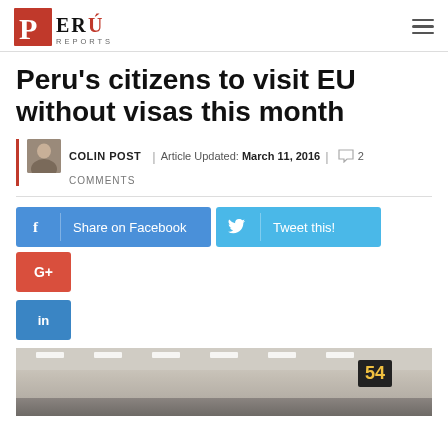Peru Reports
Peru’s citizens to visit EU without visas this month
COLIN POST | Article Updated: March 11, 2016 | 2 COMMENTS
[Figure (infographic): Social sharing buttons: Share on Facebook, Tweet this!, Google+, LinkedIn]
[Figure (photo): Airport interior with ceiling lights, dark gate sign showing number 54]